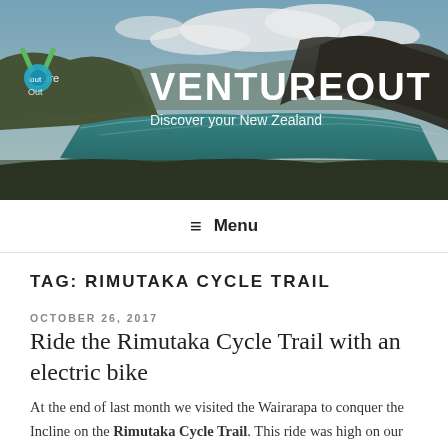[Figure (photo): VentureOut website header banner with scenic New Zealand landscape showing a mountain lake with blue-green water, rocky hills, and cloudy sky. Logo and site title overlaid.]
VENTUREOUT — Discover your New Zealand
≡ Menu
TAG: RIMUTAKA CYCLE TRAIL
OCTOBER 26, 2017
Ride the Rimutaka Cycle Trail with an electric bike
At the end of last month we visited the Wairarapa to conquer the Incline on the Rimutaka Cycle Trail. This ride was high on our bucket list of rides. The trail passes through...